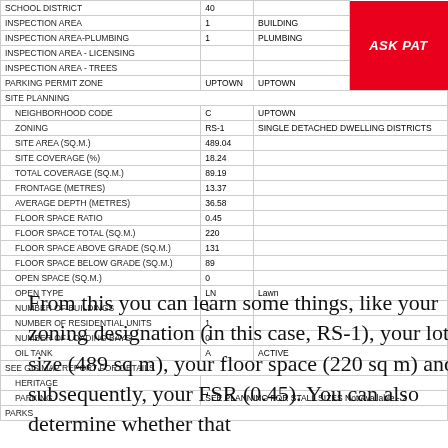| Field | Value | Description |
| --- | --- | --- |
| SCHOOL DISTRICT | 40 |  |
| INSPECTION AREA | 1 | BUILDING |
| INSPECTION AREA-PLUMBING | 1 | PLUMBING |
| INSPECTION AREA - LICENSING |  |  |
| INSPECTION AREA - TREES |  |  |
| PARKING PERMIT ZONE | UPTOWN | UPTOWN |
| SITE PLANNING |  |  |
| NEIGHBORHOOD CODE | C | UPTOWN |
| ZONING | RS-1 | SINGLE DETACHED DWELLING DISTRICTS |
| SITE AREA (SQ.M.) | 489.04 |  |
| SITE COVERAGE (%) | 18.24 |  |
| TOTAL COVERAGE (SQ.M.) | 89.19 |  |
| FRONTAGE (METRES) | 13.37 |  |
| AVERAGE DEPTH (METRES) | 36.58 |  |
| FLOOR SPACE RATIO | 0.45 |  |
| FLOOR SPACE TOTAL (SQ.M.) | 220 |  |
| FLOOR SPACE ABOVE GRADE (SQ.M.) | 131 |  |
| FLOOR SPACE BELOW GRADE (SQ.M.) | 89 |  |
| OPEN SPACE (SQ.M.) | 0 |  |
| OPEN TYPE | LN | Lawn |
| NUMBER OF BUILDINGS | 1 |  |
| NUMBER OF RESIDENTIAL UNITS | 1 |  |
| NUMBER OF LOADING BAYS | 0 |  |
| OIL TANK | A | ACTIVE |
| SEE GIS MAP REPORT FOR DETAILS |  |  |
| HERITAGE |  |  |
| PARKING | SEE PLANNING FOR STALL SIZES | Not Available - 2 |
| PARKS |  |  |
From this you can learn some things, like your zoning designation (in this case, RS-1), your lot size (489 sq m), your floor space (220 sq m) and subsequently, your FSR (0.45). You can also determine whether that